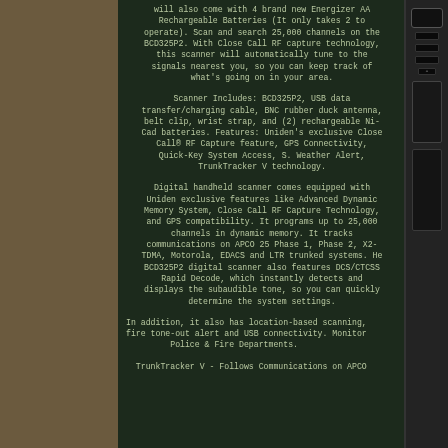will also come with 4 brand new Energizer AA Rechargeable Batteries (It only takes 2 to operate). Scan and search 25,000 channels on the BCD325P2. With Close Call RF capture technology, this scanner will automatically tune to the signals nearest you, so you can keep track of what's going on in your area.
Scanner Includes: BCD325P2, USB data transfer/charging cable, BNC rubber duck antenna, belt clip, wrist strap, and (2) rechargeable Ni-Cad batteries. Features: Uniden's exclusive Close Call® RF Capture feature, GPS Connectivity, Quick-Key System Access, S. Weather Alert, TrunkTracker V technology.
Digital handheld scanner comes equipped with Uniden exclusive features like Advanced Dynamic Memory System, Close Call RF Capture Technology, and GPS compatibility. It programs up to 25,000 channels in dynamic memory. It tracks communications on APCO 25 Phase 1, Phase 2, X2-TDMA, Motorola, EDACS and LTR trunked systems. He BCD325P2 digital scanner also features DCS/CTCSS Rapid Decode, which instantly detects and displays the subaudible tone, so you can quickly determine the system settings.
In addition, it also has location-based scanning, fire tone-out alert and USB connectivity. Monitor Police & Fire Departments.
TrunkTracker V - Follows Communications on APCO
[Figure (photo): Background showing rocky/stone surface texture on the left, and a black handheld digital scanner device on the right side]